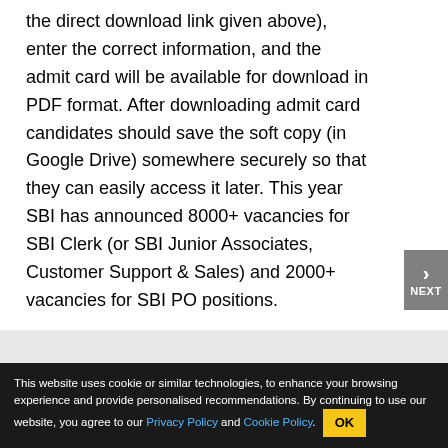the direct download link given above), enter the correct information, and the admit card will be available for download in PDF format. After downloading admit card candidates should save the soft copy (in Google Drive) somewhere securely so that they can easily access it later. This year SBI has announced 8000+ vacancies for SBI Clerk (or SBI Junior Associates, Customer Support & Sales) and 2000+ vacancies for SBI PO positions.
This website uses cookie or similar technologies, to enhance your browsing experience and provide personalised recommendations. By continuing to use our website, you agree to our Privacy Policy and Cookie Policy.